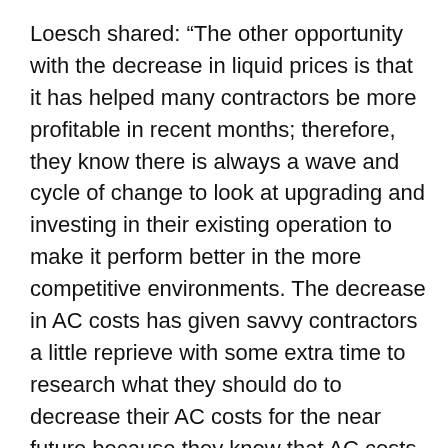Loesch shared: “The other opportunity with the decrease in liquid prices is that it has helped many contractors be more profitable in recent months; therefore, they know there is always a wave and cycle of change to look at upgrading and investing in their existing operation to make it perform better in the more competitive environments. The decrease in AC costs has given savvy contractors a little reprieve with some extra time to research what they should do to decrease their AC costs for the near future because they know that AC costs will likely skyrocket again.”
It’s not gloom and doom—it’s a fact of life that prices increase over time. When crude oil, thus AC, prices climb in the future, producers know what to do.
“The No1. advice that Stansteel/Hotmix Parts would give customers is look at the technology and various options